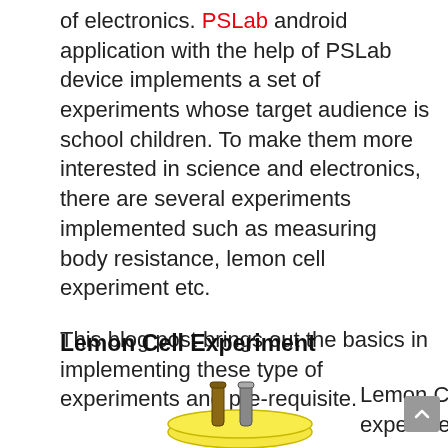of electronics. PSLab android application with the help of PSLab device implements a set of experiments whose target audience is school children. To make them more interested in science and electronics, there are several experiments implemented such as measuring body resistance, lemon cell experiment etc.

This blog post brings out the basics in implementing these type of experiments and pre-requisite.
Lemon Cell Experiment
[Figure (illustration): Illustration of a lemon cell with two metal electrodes (copper and zinc) inserted into a lemon, shown from the front in a simple cartoon style with yellow lemon body and grey/brown electrode rods.]
Lemon Cell experiment is a